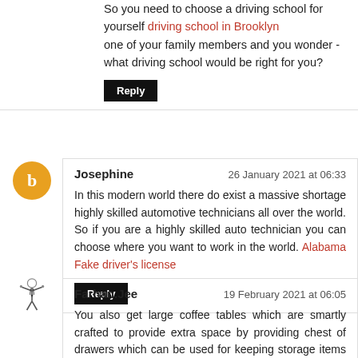So you need to choose a driving school for yourself driving school in Brooklyn one of your family members and you wonder - what driving school would be right for you?
Reply
Josephine
26 January 2021 at 06:33
In this modern world there do exist a massive shortage highly skilled automotive technicians all over the world. So if you are a highly skilled auto technician you can choose where you want to work in the world. Alabama Fake driver's license
Reply
Farhan.Jee
19 February 2021 at 06:05
You also get large coffee tables which are smartly crafted to provide extra space by providing chest of drawers which can be used for keeping storage items and also with additional shelves below the table for keeping newspapers, magazine and other collectibles. istanbul araç